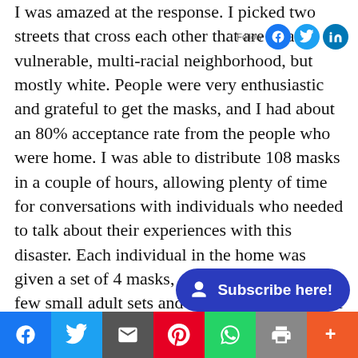I was amazed at the response. I picked two streets that cross each other that are in a vulnerable, multi-racial neighborhood, but mostly white. People were very enthusiastic and grateful to get the masks, and I had about an 80% acceptance rate from the people who were home. I was able to distribute 108 masks in a couple of hours, allowing plenty of time for conversations with individuals who needed to talk about their experiences with this disaster. Each individual in the home was given a set of 4 masks, although I only had a few small adult sets and no children sizes. (We have now ordered some of those with new donations.) They all seemed to understand the instructions for rotation...